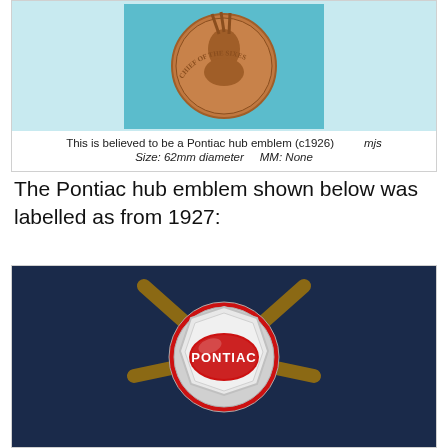[Figure (photo): A copper/brown circular Pontiac hub emblem from c1926 showing a Native American chief profile with text 'CHIEF OF THE SIXES' around the border, on a teal background.]
This is believed to be a Pontiac hub emblem (c1926)      mjs
Size: 62mm diameter      MM: None
The Pontiac hub emblem shown below was labelled as from 1927:
[Figure (photo): A 1927 Pontiac hub emblem/wheel cap showing a chrome octagonal cap with a red oval center bearing the word 'PONTIAC' in white letters, surrounded by a red ring, mounted on a dark blue wheel with wooden spokes.]